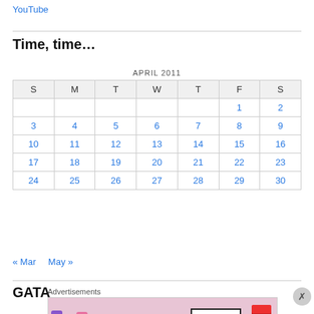YouTube
Time, time…
| S | M | T | W | T | F | S |
| --- | --- | --- | --- | --- | --- | --- |
|  |  |  |  |  | 1 | 2 |
| 3 | 4 | 5 | 6 | 7 | 8 | 9 |
| 10 | 11 | 12 | 13 | 14 | 15 | 16 |
| 17 | 18 | 19 | 20 | 21 | 22 | 23 |
| 24 | 25 | 26 | 27 | 28 | 29 | 30 |
« Mar   May »
GATA
[Figure (screenshot): MAC Cosmetics advertisement showing lipsticks with SHOP NOW button. Label reads Advertisements.]